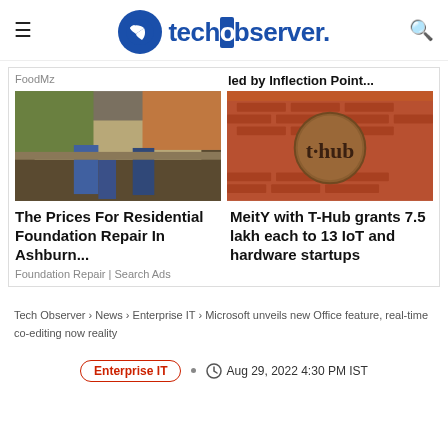techobserver.
FoodMz
led by Inflection Point...
[Figure (photo): Construction/foundation repair site showing hydraulic jacks under a house]
[Figure (photo): T-Hub logo on a brick wall]
The Prices For Residential Foundation Repair In Ashburn...
Foundation Repair | Search Ads
MeitY with T-Hub grants 7.5 lakh each to 13 IoT and hardware startups
Tech Observer › News › Enterprise IT › Microsoft unveils new Office feature, real-time co-editing now reality
Enterprise IT  •  Aug 29, 2022 4:30 PM IST